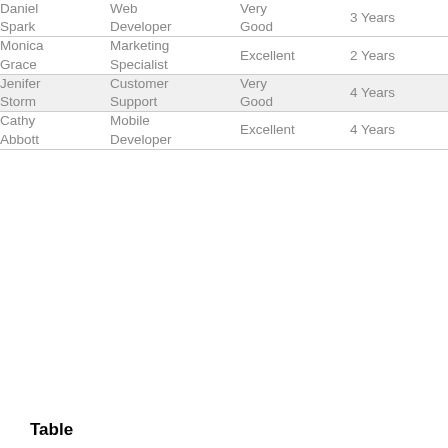| Daniel Spark | Web Developer | Very Good | 3 Years |
| Monica Grace | Marketing Specialist | Excellent | 2 Years |
| Jenifer Storm | Customer Support | Very Good | 4 Years |
| Cathy Abbott | Mobile Developer | Excellent | 4 Years |
Table